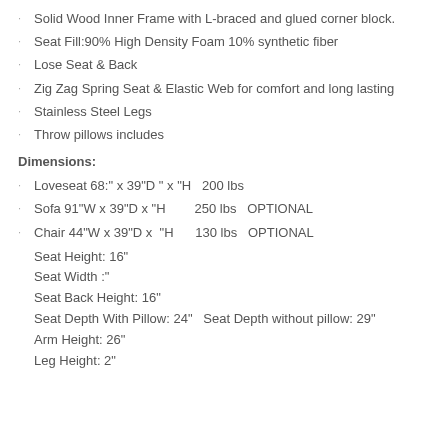Solid Wood Inner Frame with L-braced and glued corner block.
Seat Fill:90% High Density Foam 10% synthetic fiber
Lose Seat & Back
Zig Zag Spring Seat & Elastic Web for comfort and long lasting
Stainless Steel Legs
Throw pillows includes
Dimensions:
Loveseat 68:" x 39"D " x "H   200 lbs
Sofa 91"W x 39"D x "H        250 lbs  OPTIONAL
Chair 44"W x 39"D x  "H       130 lbs  OPTIONAL
Seat Height: 16"
Seat Width :"
Seat Back Height: 16"
Seat Depth With Pillow: 24"  Seat Depth without pillow: 29"
Arm Height: 26"
Leg Height: 2"